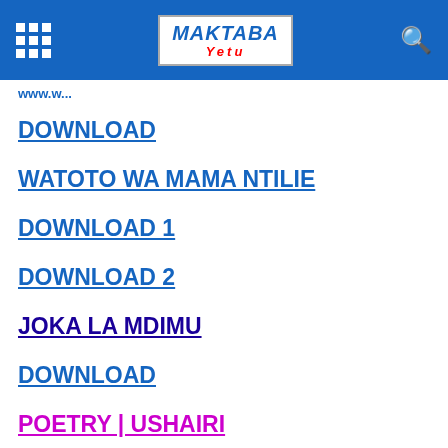Maktaba Yetu – header navigation bar
www.w...
DOWNLOAD
WATOTO WA MAMA NTILIE
DOWNLOAD 1
DOWNLOAD 2
JOKA LA MDIMU
DOWNLOAD
POETRY | USHAIRI